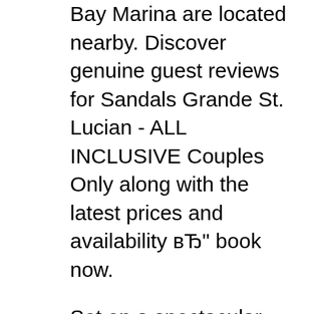Bay Marina are located nearby. Discover genuine guest reviews for Sandals Grande St. Lucian - ALL INCLUSIVE Couples Only along with the latest prices and availability вЂ" book now.
Set on a spectacular peninsula, Sandals Grande St. Lucian sits between the Caribbean Sea and Rodney Bay - Saint Lucia's most beautiful bay and home to the calmest waters on the island. At the tip of the peninsula is Fort Rodney, a bluff-top holdout during Britain's 150-year war with the French. Sandals Grande St. Lucian is located in the picturesque and historic Pigeon Island in the north of Saint Lucia. Once an island, but now linked to the mainland, the